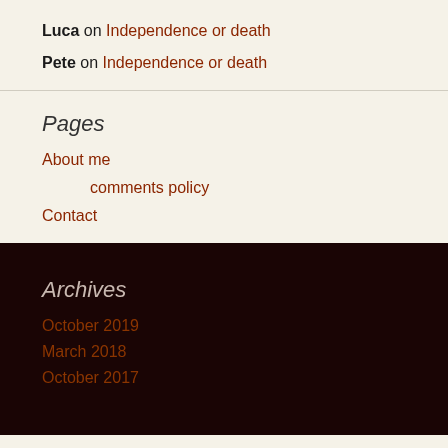Luca on Independence or death
Pete on Independence or death
Pages
About me
comments policy
Contact
Archives
October 2019
March 2018
October 2017